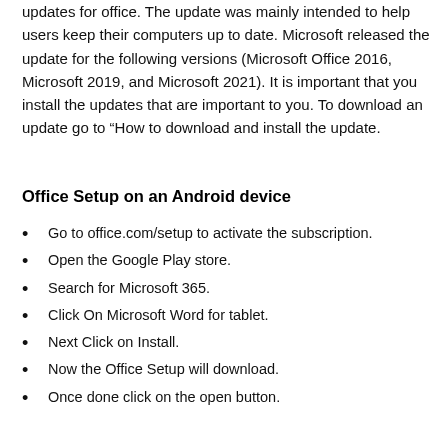updates for office. The update was mainly intended to help users keep their computers up to date. Microsoft released the update for the following versions (Microsoft Office 2016, Microsoft 2019, and Microsoft 2021). It is important that you install the updates that are important to you. To download an update go to “How to download and install the update.
Office Setup on an Android device
Go to office.com/setup to activate the subscription.
Open the Google Play store.
Search for Microsoft 365.
Click On Microsoft Word for tablet.
Next Click on Install.
Now the Office Setup will download.
Once done click on the open button.